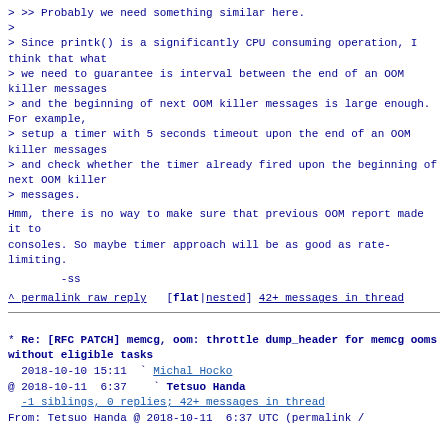> >> Probably we need something similar here.
>
> Since printk() is a significantly CPU consuming operation, I think that what
> we need to guarantee is interval between the end of an OOM killer messages
> and the beginning of next OOM killer messages is large enough. For example,
> setup a timer with 5 seconds timeout upon the end of an OOM killer messages
> and check whether the timer already fired upon the beginning of next OOM killer
> messages.
Hmm, there is no way to make sure that previous OOM report made it to
consoles. So maybe timer approach will be as good as rate-limiting.
-ss
^ permalink raw reply   [flat|nested] 42+ messages in thread
* Re: [RFC PATCH] memcg, oom: throttle dump_header for memcg ooms without eligible tasks
  2018-10-10 15:11  ` Michal Hocko
@ 2018-10-11  6:37    ` Tetsuo Handa
  -1 siblings, 0 replies; 42+ messages in thread
From: Tetsuo Handa @ 2018-10-11  6:37 UTC (permalink /